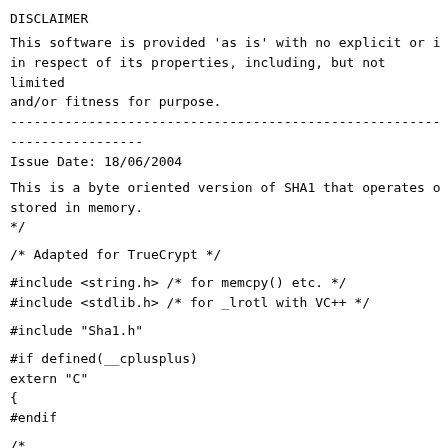DISCLAIMER
This software is provided 'as is' with no explicit or i
in respect of its properties, including, but not limited
and/or fitness for purpose.
------------------------------------------------------------------------
Issue Date: 18/06/2004
This is a byte oriented version of SHA1 that operates o
stored in memory.
*/
/* Adapted for TrueCrypt */
#include <string.h>      /* for memcpy() etc.        */
#include <stdlib.h>      /* for _lrotl with VC++     */
#include "Sha1.h"
#if defined(__cplusplus)
extern "C"
{
#endif
/*
    To obtain the highest speed on processors with 32-bi
    needs to determine the order in which bytes are packe
    The following block of code is an attempt to capture
    ways in which various environemnts specify their end:
    It may well fail, in which case the definitions will